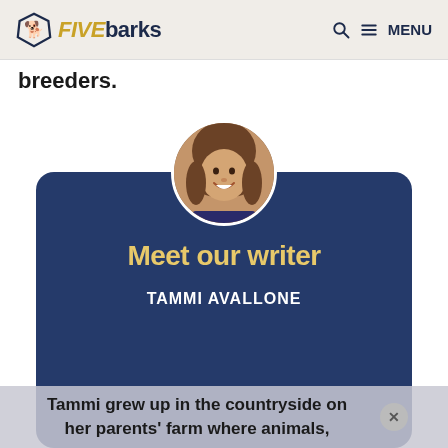FIVEbarks — Q MENU
breeders.
[Figure (photo): Circular profile photo of Tammi Avallone, a woman with brown hair, smiling.]
Meet our writer
TAMMI AVALLONE
Tammi grew up in the countryside on her parents' farm where animals,